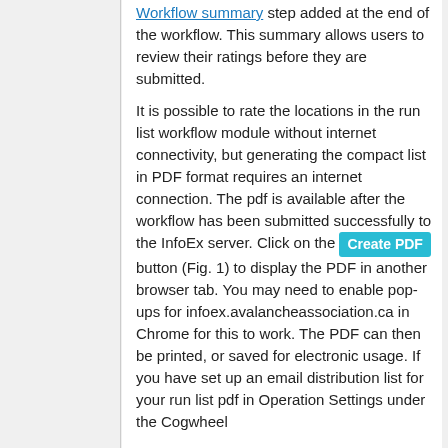Workflow summary step added at the end of the workflow. This summary allows users to review their ratings before they are submitted.
It is possible to rate the locations in the run list workflow module without internet connectivity, but generating the compact list in PDF format requires an internet connection. The pdf is available after the workflow has been submitted successfully to the InfoEx server. Click on the [Create PDF] button (Fig. 1) to display the PDF in another browser tab. You may need to enable pop-ups for infoex.avalancheassociation.ca in Chrome for this to work. The PDF can then be printed, or saved for electronic usage. If you have set up an email distribution list for your run list pdf in Operation Settings under the Cogwheel